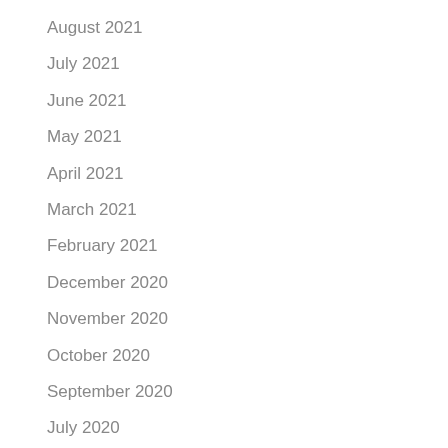August 2021
July 2021
June 2021
May 2021
April 2021
March 2021
February 2021
December 2020
November 2020
October 2020
September 2020
July 2020
June 2020
May 2020
March 2020